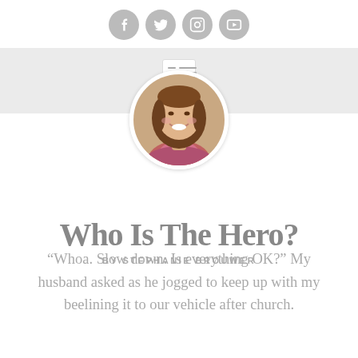[Figure (illustration): Social media icons: Facebook, Twitter, Instagram, YouTube — grey circles with white icons]
[Figure (photo): Circular profile photo of Stephanie Brouwer, a smiling woman with brown hair]
Who Is The Hero?
BY STEPHANIE BROUWER
“Whoa. Slow down. Is everything OK?” My husband asked as he jogged to keep up with my beelining it to our vehicle after church.